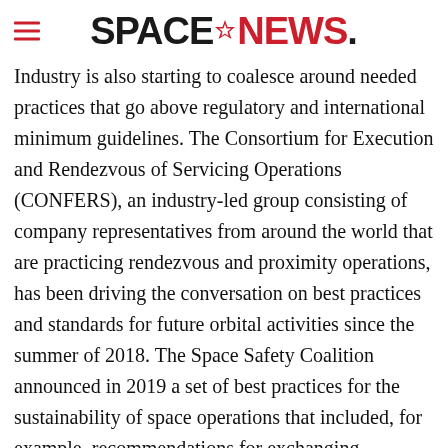SPACENEWS
Industry is also starting to coalesce around needed practices that go above regulatory and international minimum guidelines. The Consortium for Execution and Rendezvous of Servicing Operations (CONFERS), an industry-led group consisting of company representatives from around the world that are practicing rendezvous and proximity operations, has been driving the conversation on best practices and standards for future orbital activities since the summer of 2018. The Space Safety Coalition announced in 2019 a set of best practices for the sustainability of space operations that included, for example, recommendations for exchanging information and increasing successful disposal after the end of mission. The coalition has also set a goal for operators with propulsion years of end of